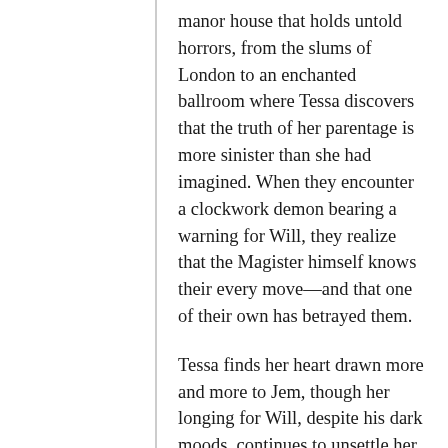manor house that holds untold horrors, from the slums of London to an enchanted ballroom where Tessa discovers that the truth of her parentage is more sinister than she had imagined. When they encounter a clockwork demon bearing a warning for Will, they realize that the Magister himself knows their every move—and that one of their own has betrayed them.
Tessa finds her heart drawn more and more to Jem, though her longing for Will, despite his dark moods, continues to unsettle her. But something is changing in Will—the wall he has built around himself is crumbling. Could finding the Magister